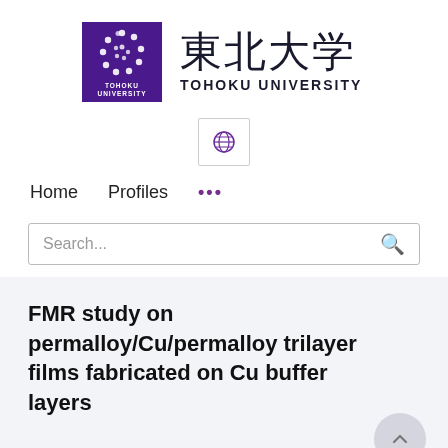[Figure (logo): Tohoku University logo: purple square with white circular emblem and TOHOKU UNIVERSITY text, alongside kanji 東北大学 and TOHOKU UNIVERSITY in English]
[Figure (logo): Globe/language selector icon button with border]
Home   Profiles   ...
Search...
FMR study on permalloy/Cu/permalloy trilayer films fabricated on Cu buffer layers